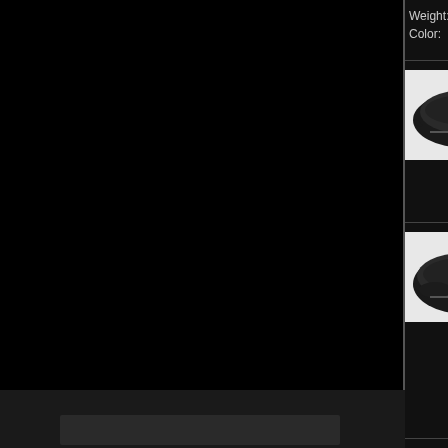Weight: 896 (steel) g
Color: black or brow
VERONA
[Figure (photo): Bicycle saddle product photo - VERONA model, black saddle on white background]
Foam: Vacuum
Rail: ED black ste
Top: PU
Base: black PP
Size: 265 × 200mn
Weight: 450 (steel) g
Color: black or brow
VARESE
[Figure (photo): Bicycle saddle product photo - VARESE model, black saddle on white background]
Foam: Vacuum with
Rail: ED black ste
Top: PU
Base: black PP
Size: 265 × 200mn
Weight: 450 (steel) g
Color: black or brow